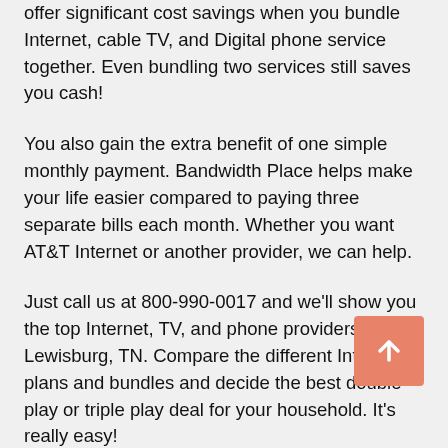offer significant cost savings when you bundle Internet, cable TV, and Digital phone service together. Even bundling two services still saves you cash!
You also gain the extra benefit of one simple monthly payment. Bandwidth Place helps make your life easier compared to paying three separate bills each month. Whether you want AT&T Internet or another provider, we can help.
Just call us at 800-990-0017 and we'll show you the top Internet, TV, and phone providers in Lewisburg, TN. Compare the different Internet plans and bundles and decide the best double play or triple play deal for your household. It's really easy!
Bandwidth Place helps you find the Best Deals on